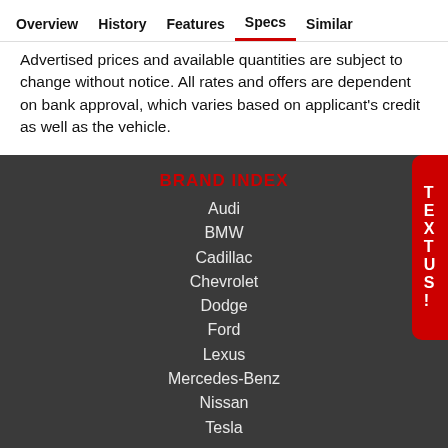Overview  History  Features  Specs  Similar
Advertised prices and available quantities are subject to change without notice. All rates and offers are dependent on bank approval, which varies based on applicant's credit as well as the vehicle.
BRAND INDEX
Audi
BMW
Cadillac
Chevrolet
Dodge
Ford
Lexus
Mercedes-Benz
Nissan
Tesla
LOCATE US